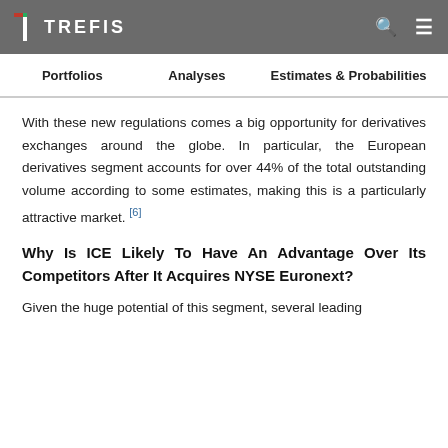TREFIS
With these new regulations comes a big opportunity for derivatives exchanges around the globe. In particular, the European derivatives segment accounts for over 44% of the total outstanding volume according to some estimates, making this is a particularly attractive market. [6]
Why Is ICE Likely To Have An Advantage Over Its Competitors After It Acquires NYSE Euronext?
Given the huge potential of this segment, several leading